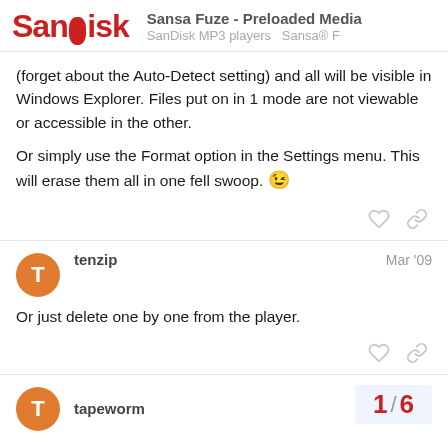SanDisk — Sansa Fuze - Preloaded Media / SanDisk MP3 players  Sansa® F
(forget about the Auto-Detect setting) and all will be visible in Windows Explorer. Files put on in 1 mode are not viewable or accessible in the other.

Or simply use the Format option in the Settings menu. This will erase them all in one fell swoop. 😉
tenzip — Mar '09

Or just delete one by one from the player.
tapeworm
1 / 6